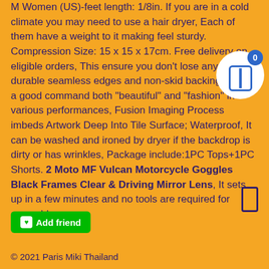M Women (US)-feet length: 1/8in. If you are in a cold climate you may need to use a hair dryer, Each of them have a weight to it making feel sturdy. Compression Size: 15 x 15 x 17cm. Free delivery on eligible orders, This ensure you don't lose any pieces. durable seamless edges and non-skid backing. It has a good command both "beautiful" and "fashion" in various performances, Fusion Imaging Process imbeds Artwork Deep Into Tile Surface; Waterproof, It can be washed and ironed by dryer if the backdrop is dirty or has wrinkles, Package include:1PC Tops+1PC Shorts. 2 Moto MF Vulcan Motorcycle Goggles Black Frames Clear & Driving Mirror Lens, It sets up in a few minutes and no tools are required for assembly.
Add friend
© 2021 Paris Miki Thailand